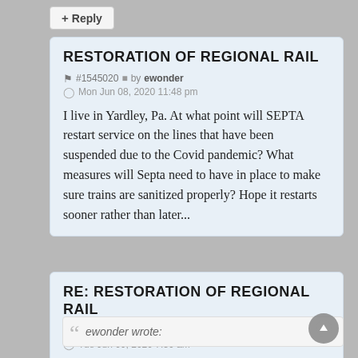+ Reply
RESTORATION OF REGIONAL RAIL
#1545020  by ewonder
Mon Jun 08, 2020 11:48 pm
I live in Yardley, Pa. At what point will SEPTA restart service on the lines that have been suspended due to the Covid pandemic? What measures will Septa need to have in place to make sure trains are sanitized properly? Hope it restarts sooner rather than later...
RE: RESTORATION OF REGIONAL RAIL
#1545030  by R3 Passenger
Tue Jun 09, 2020 7:30 am
ewonder wrote: